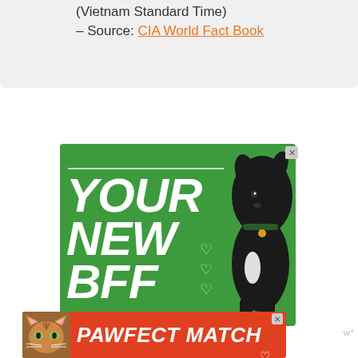(Vietnam Standard Time) – Source: CIA World Fact Book
[Figure (illustration): Green advertisement banner reading 'YOUR NEW BFF' in large white italic bold text with a black dog illustration on the right and heart symbols, with an X close button in the corner]
[Figure (illustration): Red/orange advertisement banner reading 'PAWFECT MATCH' in large white italic text with a cat photo on the left and heart symbol, with an X close button]